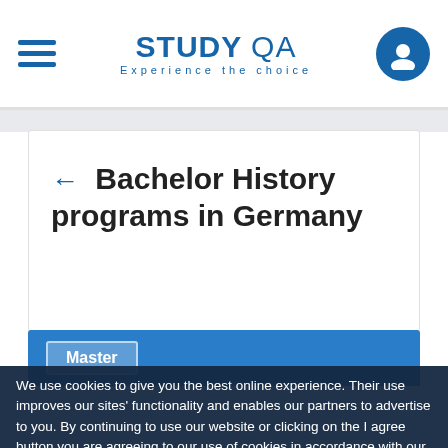STUDY QA — Experience the choice
← Bachelor History programs in Germany
Master
Historical Studies in European Perspective
We use cookies to give you the best online experience. Their use improves our sites' functionality and enables our partners to advertise to you. By continuing to use our website or clicking on the I agree button you are agreeing to our use of cookies in accordance with our Cookie Policy. Details on how we use cookies can be found in our Cookie Policy
I AGREE